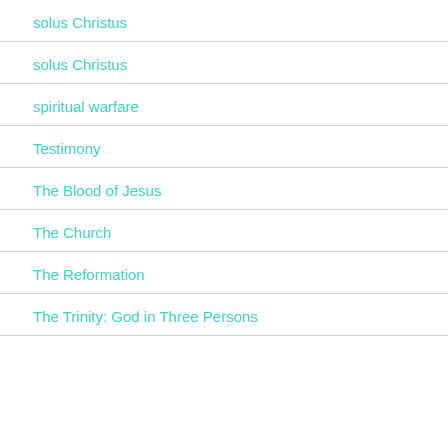solus Christus
solus Christus
spiritual warfare
Testimony
The Blood of Jesus
The Church
The Reformation
The Trinity: God in Three Persons